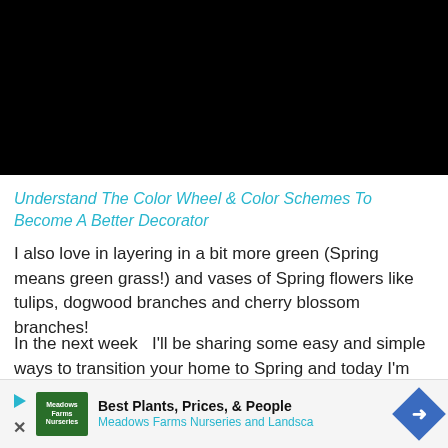[Figure (photo): Black rectangle occupying the top portion of the page, representing an image area]
Understand The Color Wheel & Color Schemes To Become A Better Decorator
I also love in layering in a bit more green (Spring means green grass!) and vases of Spring flowers like tulips, dogwood branches and cherry blossom branches!
In the next week  I'll be sharing some easy and simple ways to transition your home to Spring and today I'm starting with my entryway!
If you s... ...hsous
[Figure (infographic): Advertisement banner: Best Plants, Prices, & People — Meadows Farms Nurseries and Landsca]